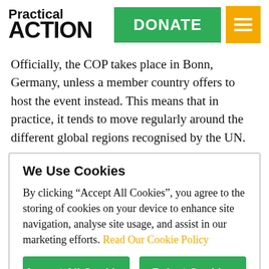Practical ACTION | DONATE | Menu
Officially, the COP takes place in Bonn, Germany, unless a member country offers to host the event instead. This means that in practice, it tends to move regularly around the different global regions recognised by the UN.
We Use Cookies
By clicking “Accept All Cookies”, you agree to the storing of cookies on your device to enhance site navigation, analyse site usage, and assist in our marketing efforts. Read Our Cookie Policy
Accept All Cookies | Reject Cookies